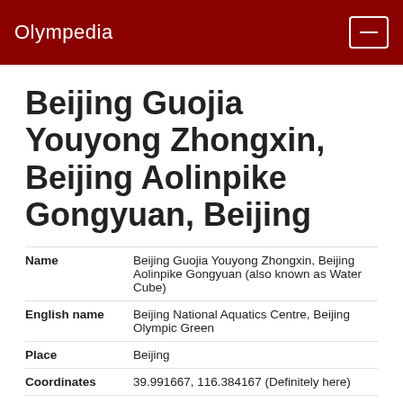Olympedia
Beijing Guojia Youyong Zhongxin, Beijing Aolinpike Gongyuan, Beijing
| Name | Beijing Guojia Youyong Zhongxin, Beijing Aolinpike Gongyuan (also known as Water Cube) |
| English name | Beijing National Aquatics Centre, Beijing Olympic Green |
| Place | Beijing |
| Coordinates | 39.991667, 116.384167 (Definitely here) |
| Games | 2008 Summer Olympics / 2022 Winter Olympics |